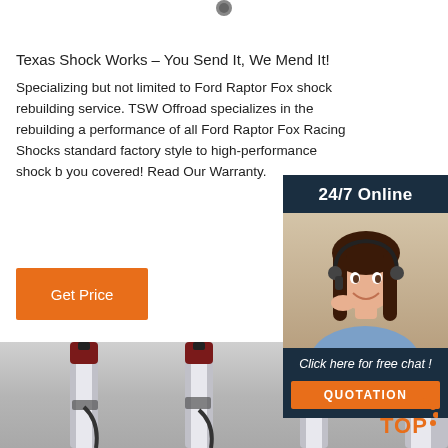[Figure (logo): Small circular logo at top center]
Texas Shock Works – You Send It, We Mend It!
Specializing but not limited to Ford Raptor Fox shock rebuilding service. TSW Offroad specializes in the rebuilding and performance of all Ford Raptor Fox Racing Shocks from standard factory style to high-performance shock builds, we you covered! Read Our Warranty.
[Figure (other): Get Price orange button]
[Figure (infographic): Sidebar with 24/7 Online label, customer service representative photo, Click here for free chat text, and QUOTATION button]
[Figure (photo): Four Ford Raptor Fox shock absorbers standing upright on grey surface, showing chrome shafts with dark red/maroon reservoir bodies]
[Figure (logo): TOP badge with orange dotted arc in bottom right corner]